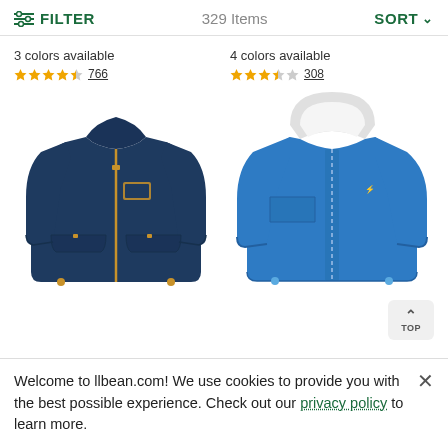FILTER | 329 Items | SORT
3 colors available
★★★★½ 766
[Figure (photo): Navy blue fleece zip-up jacket with gold zipper and small patch logo on chest]
4 colors available
★★★½☆ 308
[Figure (photo): Bright blue hooded rain jacket with white fleece lining visible at hood]
Welcome to llbean.com! We use cookies to provide you with the best possible experience. Check out our privacy policy to learn more.